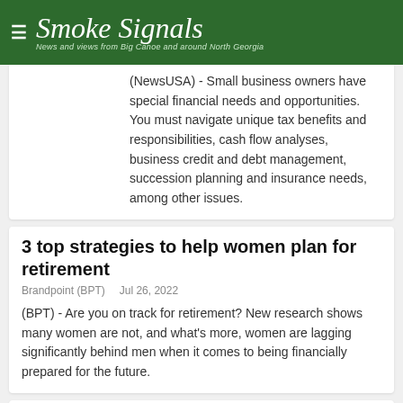Smoke Signals — News and views from Big Canoe and around North Georgia
(NewsUSA) - Small business owners have special financial needs and opportunities. You must navigate unique tax benefits and responsibilities, cash flow analyses, business credit and debt management, succession planning and insurance needs, among other issues.
3 top strategies to help women plan for retirement
Brandpoint (BPT)   Jul 26, 2022
(BPT) - Are you on track for retirement? New research shows many women are not, and what's more, women are lagging significantly behind men when it comes to being financially prepared for the future.
Three Summer Tips To Get You Fitter